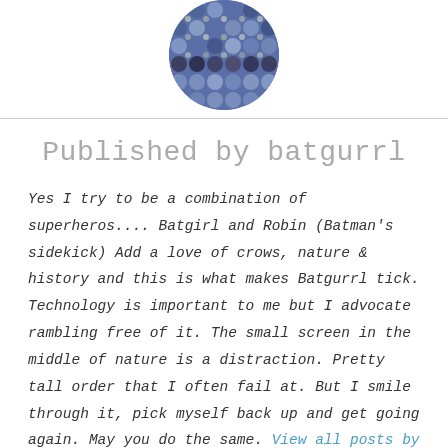[Figure (photo): Circular avatar image with decorative blue and white floral/geometric Japanese-style pattern fabric]
Published by batgurrl
Yes I try to be a combination of superheros.... Batgirl and Robin (Batman's sidekick) Add a love of crows, nature & history and this is what makes Batgurrl tick. Technology is important to me but I advocate rambling free of it. The small screen in the middle of nature is a distraction. Pretty tall order that I often fail at. But I smile through it, pick myself back up and get going again. May you do the same. View all posts by